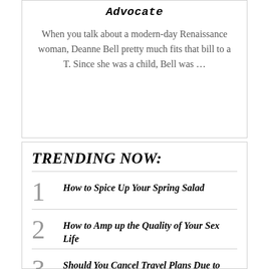Advocate
When you talk about a modern-day Renaissance woman, Deanne Bell pretty much fits that bill to a T. Since she was a child, Bell was …
TRENDING NOW:
1 How to Spice Up Your Spring Salad
2 How to Amp up the Quality of Your Sex Life
3 Should You Cancel Travel Plans Due to Coronavirus? Take This Quiz